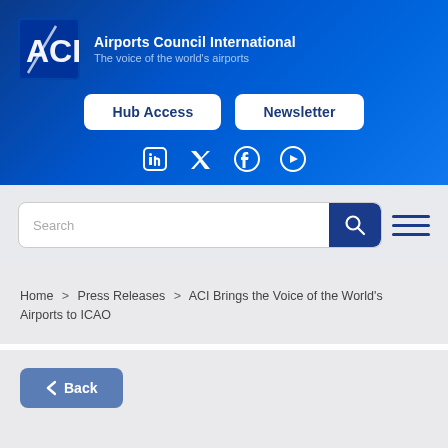Airports Council International — The voice of the world's airports
[Figure (logo): ACI logo — stylized white A and C letters on blue background]
Hub Access
Newsletter
[Figure (other): Social media icons: LinkedIn, Twitter, Facebook, YouTube]
Search
Home > Press Releases > ACI Brings the Voice of the World's Airports to ICAO
Back